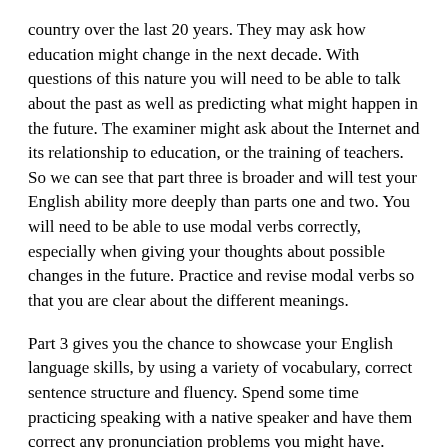country over the last 20 years. They may ask how education might change in the next decade. With questions of this nature you will need to be able to talk about the past as well as predicting what might happen in the future. The examiner might ask about the Internet and its relationship to education, or the training of teachers. So we can see that part three is broader and will test your English ability more deeply than parts one and two. You will need to be able to use modal verbs correctly, especially when giving your thoughts about possible changes in the future. Practice and revise modal verbs so that you are clear about the different meanings.
Part 3 gives you the chance to showcase your English language skills, by using a variety of vocabulary, correct sentence structure and fluency. Spend some time practicing speaking with a native speaker and have them correct any pronunciation problems you might have. Remember it is not necessary to speak perfectly, but you do want to make sure that your voice is clear and coherent, meaning that the examiner can understand you.
The best way to adequately prepare for the speaking part of the IELTS test is to make sure that you get plenty of practice talking. It